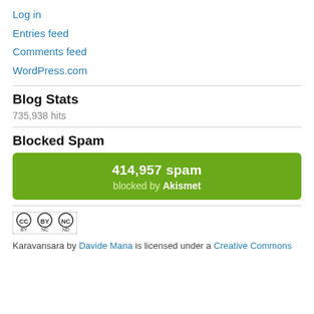Log in
Entries feed
Comments feed
WordPress.com
Blog Stats
735,938 hits
Blocked Spam
[Figure (infographic): Green Akismet spam counter box showing 414,957 spam blocked by Akismet]
[Figure (logo): Creative Commons BY NC ND license badge]
Karavansara by Davide Mana is licensed under a Creative Commons